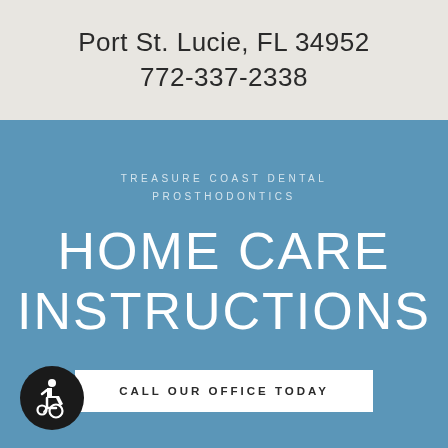Port St. Lucie, FL 34952
772-337-2338
TREASURE COAST DENTAL PROSTHODONTICS
HOME CARE INSTRUCTIONS
CALL OUR OFFICE TODAY
[Figure (illustration): Wheelchair accessibility icon — white wheelchair symbol on a dark circular background]